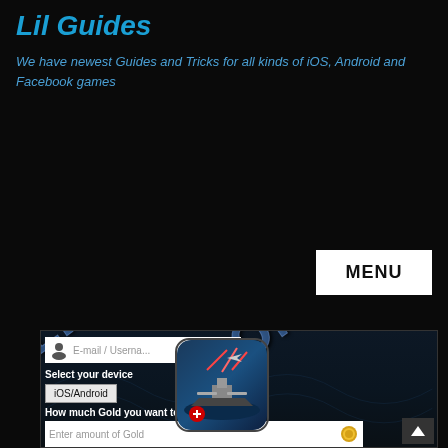Lil Guides
We have newest Guides and Tricks for all kinds of iOS, Android and Facebook games
[Figure (screenshot): Screenshot of a mobile game hack/cheat tool website for World of Warships. Shows a form with fields for E-mail/Username, device selection (iOS/Android), Gold amount, and Silver amount. Contains a large watermark 'LILGUIDES.COM' diagonally across the image. A game icon and menu button are visible.]
MENU
E-mail / Username
Select your device
iOS/Android
How much Gold you want to add?
Enter amount of Gold
Note: You can add maximum 1,000,000 Gold per day.
How much Silver you want to add?
Enter amount of Silver
Note: You can add maximum 1,000,000 Silver per day.